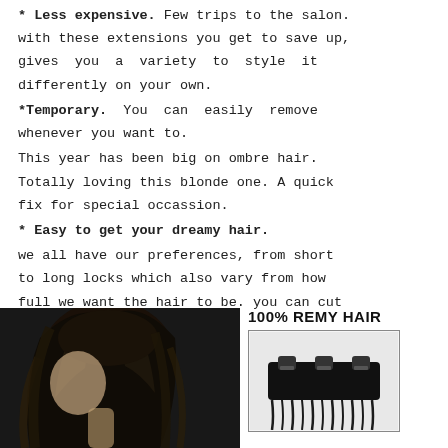* Less expensive. Few trips to the salon. with these extensions you get to save up, gives you a variety to style it differently on your own.
*Temporary. You can easily remove whenever you want to.
This year has been big on ombre hair. Totally loving this blonde one. A quick fix for special occassion.
* Easy to get your dreamy hair.
we all have our preferences, from short to long locks which also vary from how full we want the hair to be. you can cut and color as you desire.
[Figure (photo): Woman with dark hair shown from behind/side, and a product image of black clip-in hair extensions labeled 100% REMY HAIR]